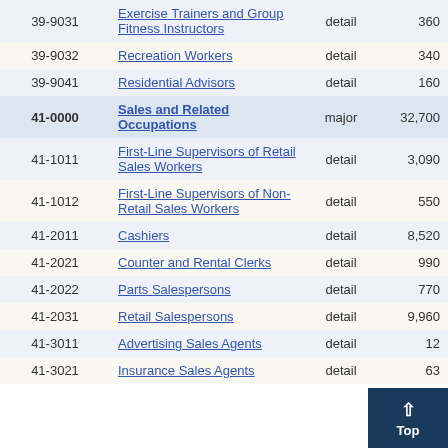| Code | Occupation | Level | Employment | (truncated) |
| --- | --- | --- | --- | --- |
| 39-9031 | Exercise Trainers and Group Fitness Instructors | detail | 360 | 8… |
| 39-9032 | Recreation Workers | detail | 340 | 8… |
| 39-9041 | Residential Advisors | detail | 160 | 19… |
| 41-0000 | Sales and Related Occupations | major | 32,700 | 1… |
| 41-1011 | First-Line Supervisors of Retail Sales Workers | detail | 3,090 | 2… |
| 41-1012 | First-Line Supervisors of Non-Retail Sales Workers | detail | 550 | 6… |
| 41-2011 | Cashiers | detail | 8,520 | 3… |
| 41-2021 | Counter and Rental Clerks | detail | 990 | 8… |
| 41-2022 | Parts Salespersons | detail | 770 | 6… |
| 41-2031 | Retail Salespersons | detail | 9,960 | 1… |
| 41-3011 | Advertising Sales Agents | detail | 12… |  |
| 41-3021 | Insurance Sales Agents | detail | 63… |  |